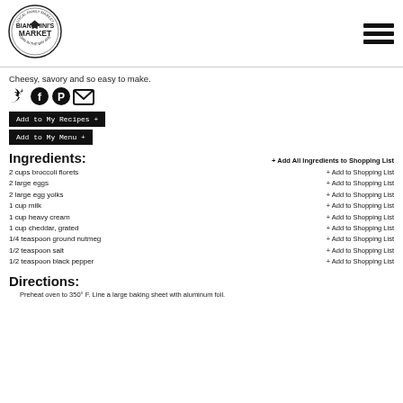[Figure (logo): Bianchini's Market circular logo — Local Family Market, Born in the Bay Area]
Cheesy, savory and so easy to make.
[Figure (other): Social media icons: Twitter, Facebook, Pinterest, Email]
Add to My Recipes +
Add to My Menu +
Ingredients:
+ Add All Ingredients to Shopping List
2 cups broccoli florets
2 large eggs
2 large egg yolks
1 cup milk
1 cup heavy cream
1 cup cheddar, grated
1/4 teaspoon ground nutmeg
1/2 teaspoon salt
1/2 teaspoon black pepper
Directions:
Preheat oven to 350° F. Line a large baking sheet with aluminum foil.